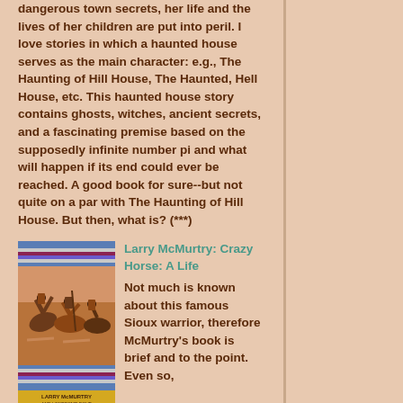dangerous town secrets, her life and the lives of her children are put into peril. I love stories in which a haunted house serves as the main character: e.g., The Haunting of Hill House, The Haunted, Hell House, etc. This haunted house story contains ghosts, witches, ancient secrets, and a fascinating premise based on the supposedly infinite number pi and what will happen if its end could ever be reached. A good book for sure--but not quite on a par with The Haunting of Hill House. But then, what is? (***)
[Figure (illustration): Book cover of Larry McMurtry's Crazy Horse: A Life, showing a painting of Native American warriors on horseback with decorative border stripes in blue, red, and purple.]
Larry McMurtry: Crazy Horse: A Life
Not much is known about this famous Sioux warrior, therefore McMurtry's book is brief and to the point. Even so, the reader gets a pretty clear picture of the man's bravery, integrity, and